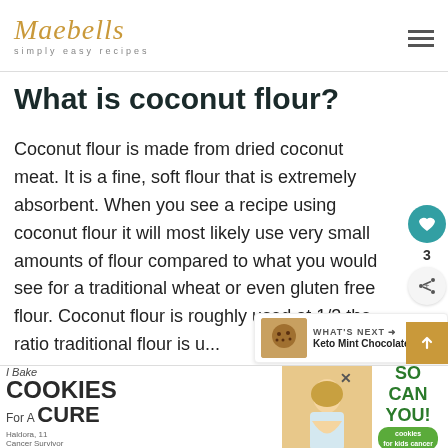Maebells simply easy recipes
What is coconut flour?
Coconut flour is made from dried coconut meat. It is a fine, soft flour that is extremely absorbent. When you see a recipe using coconut flour it will most likely use very small amounts of flour compared to what you would see for a traditional wheat or even gluten free flour. Coconut flour is roughly used at 1/3 the ratio traditional flour is u...
[Figure (infographic): Advertisement banner at bottom: I Bake Cookies For A Cure, Haldora 11 Cancer Survivor, So can you, cookies for kids cancer]
[Figure (infographic): What's Next panel: Keto Mint Chocolate... with cookie thumbnail]
[Figure (infographic): Social sidebar with heart/save button showing count 3, and share button]